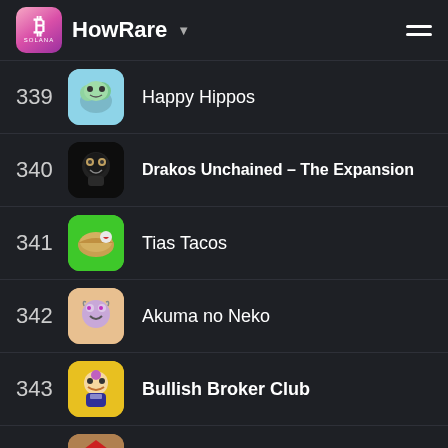HowRare
339 Happy Hippos
340 Drakos Unchained - The Expansion
341 Tias Tacos
342 Akuma no Neko
343 Bullish Broker Club
344 ChinesePunkz